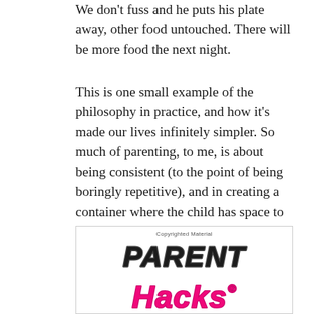We don't fuss and he puts his plate away, other food untouched. There will be more food the next night.
This is one small example of the philosophy in practice, and how it's made our lives infinitely simpler. So much of parenting, to me, is about being consistent (to the point of being boringly repetitive), and in creating a container where the child has space to be free and knows where the edges are.
[Figure (logo): Book logo showing 'PARENT HACKS' in bold stylized lettering. 'PARENT' in large dark/black chunky bold italic font, 'Hacks' in large bright pink/magenta chunky bold italic font with a registered trademark symbol. Text 'Copyrighted Material' appears at the top center of the bordered box.]